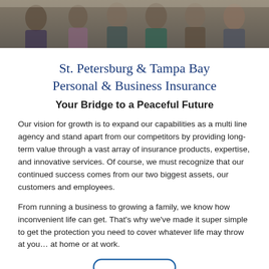[Figure (photo): Group photo of insurance agency staff, multiple people standing together, professional attire]
St. Petersburg & Tampa Bay Personal & Business Insurance
Your Bridge to a Peaceful Future
Our vision for growth is to expand our capabilities as a multi line agency and stand apart from our competitors by providing long-term value through a vast array of insurance products, expertise, and innovative services. Of course, we must recognize that our continued success comes from our two biggest assets, our customers and employees.
From running a business to growing a family, we know how inconvenient life can get. That's why we've made it super simple to get the protection you need to cover whatever life may throw at you… at home or at work.
[Figure (other): Partial view of a rounded button with blue border outline]